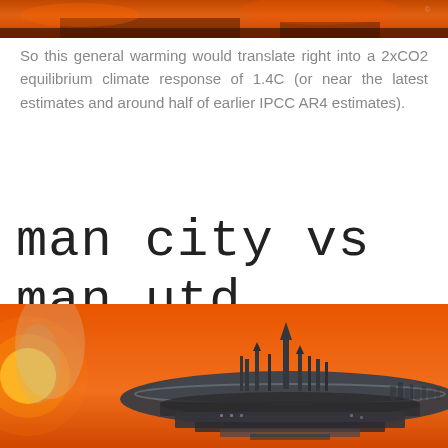[Figure (illustration): Top portion of a science fiction / climate art illustration with orange and dark tones, partially cropped]
So this general warming would translate right into a 2xCO2 equilibrium climate response of 1.4C (or near the latest estimates and around half of earlier IPCC AR4 estimates).
man city vs man utd
1-2 2019
[Figure (illustration): Science fiction illustration of a futuristic flying city or space station above an orange sky with a sun visible on the left]